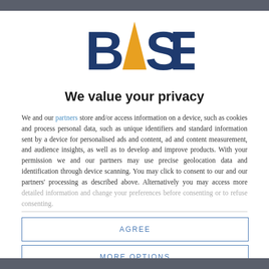[Figure (logo): BASE logo with orange triangle/caret replacing the letter A, text in dark blue]
We value your privacy
We and our partners store and/or access information on a device, such as cookies and process personal data, such as unique identifiers and standard information sent by a device for personalised ads and content, ad and content measurement, and audience insights, as well as to develop and improve products. With your permission we and our partners may use precise geolocation data and identification through device scanning. You may click to consent to our and our partners' processing as described above. Alternatively you may access more detailed information and change your preferences before consenting or to refuse consenting.
AGREE
MORE OPTIONS